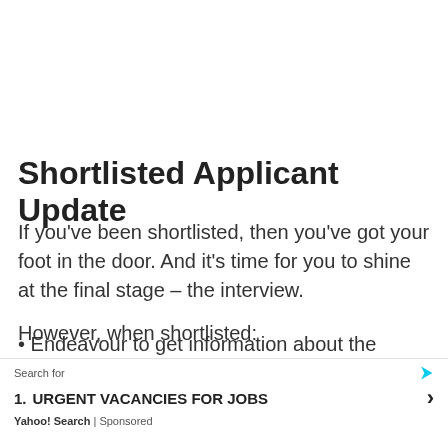Shortlisted Applicant Update
If you've been shortlisted, then you've got your foot in the door. And it's time for you to shine at the final stage – the interview.
However, when shortlisted:
Endeavour to get information about the company.
Also, ensure you have a clear vision. Try to figure out why you want the specific position. And how you w
Also
Search for
1. URGENT VACANCIES FOR JOBS ›
Yahoo! Search | Sponsored